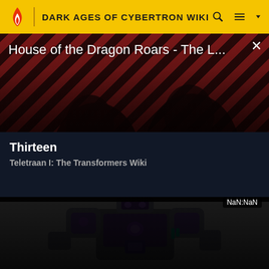DARK AGES OF CYBERTRON WIKI
[Figure (screenshot): Video player showing 'House of the Dragon Roars - The L...' with play button, diagonal red/dark stripe background, THE LOOP branding, and NaN:NaN timestamp]
Thirteen
Teletraan I: The Transformers Wiki
[Figure (illustration): Robot/mech character in purple and grey color scheme from Transformers, shown from waist up against a light grey background]